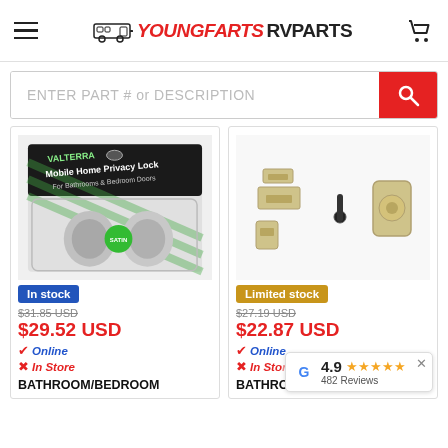YoungFarts RV Parts
ENTER PART # or DESCRIPTION
[Figure (photo): Product 1: Valterra Mobile Home Privacy Lock for Bathrooms & Bedroom Doors, satin nickel knob, packaged]
In stock
$31.85 USD
$29.52 USD
✔ Online
✘ In Store
BATHROOM/BEDROOM
[Figure (photo): Product 2: RV door lock parts - latch plate, pin, and knob in satin nickel finish]
Limited stock
$27.19 USD
$22.87 USD
✔ Online
✘ In Store
BATHROOM/BEDROOM
4.9 ★★★★★ 482 Reviews